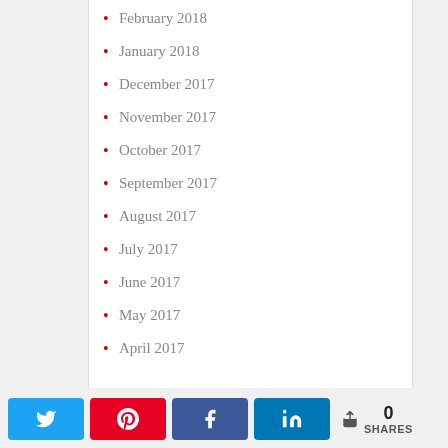February 2018
January 2018
December 2017
November 2017
October 2017
September 2017
August 2017
July 2017
June 2017
May 2017
April 2017
0 SHARES